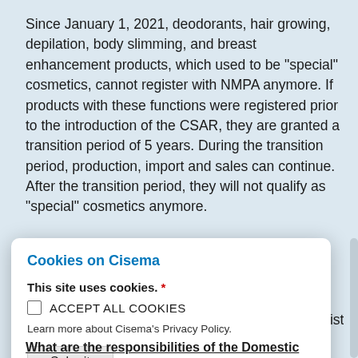Since January 1, 2021, deodorants, hair growing, depilation, body slimming, and breast enhancement products, which used to be "special" cosmetics, cannot register with NMPA anymore. If products with these functions were registered prior to the introduction of the CSAR, they are granted a transition period of 5 years. During the transition period, production, import and sales can continue. After the transition period, they will not qualify as "special" cosmetics anymore.
Cookies on Cisema
This site uses cookies. *
ACCEPT ALL COOKIES
Learn more about Cisema's Privacy Policy.
Submit
What are the responsibilities of the Domestic